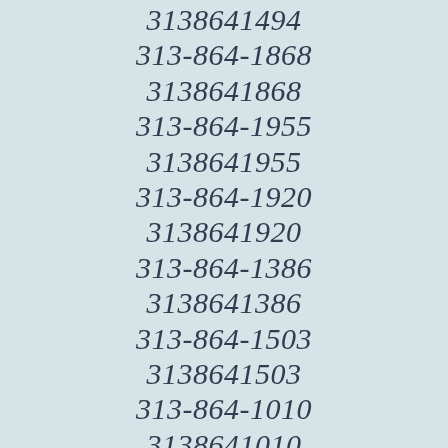3138641494
313-864-1868
3138641868
313-864-1955
3138641955
313-864-1920
3138641920
313-864-1386
3138641386
313-864-1503
3138641503
313-864-1010
3138641010
313-864-1571
3138641571
313-864-1759